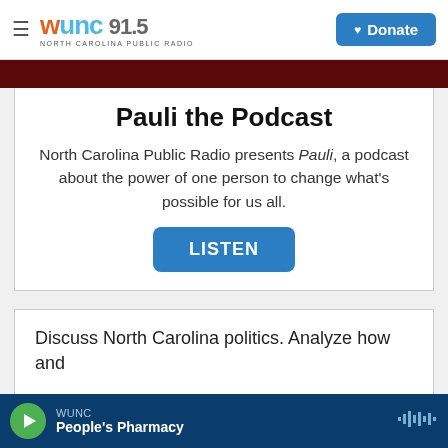WUNC 91.5 North Carolina Public Radio | Donate
[Figure (screenshot): Dark maroon/red decorative banner strip]
Pauli the Podcast
North Carolina Public Radio presents Pauli, a podcast about the power of one person to change what's possible for us all.
LISTEN
Discuss North Carolina politics. Analyze how and
WUNC People's Pharmacy